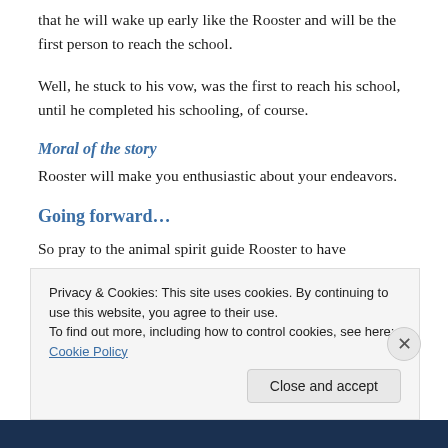that he will wake up early like the Rooster and will be the first person to reach the school.
Well, he stuck to his vow, was the first to reach his school, until he completed his schooling, of course.
Moral of the story
Rooster will make you enthusiastic about your endeavors.
Going forward...
So pray to the animal spirit guide Rooster to have enthusiasm
Privacy & Cookies: This site uses cookies. By continuing to use this website, you agree to their use.
To find out more, including how to control cookies, see here: Cookie Policy
Close and accept